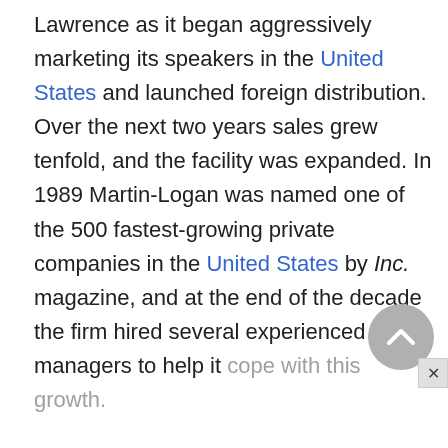Lawrence as it began aggressively marketing its speakers in the United States and launched foreign distribution. Over the next two years sales grew tenfold, and the facility was expanded. In 1989 Martin-Logan was named one of the 500 fastest-growing private companies in the United States by Inc. magazine, and at the end of the decade the firm hired several experienced new managers to help it cope with this growth.